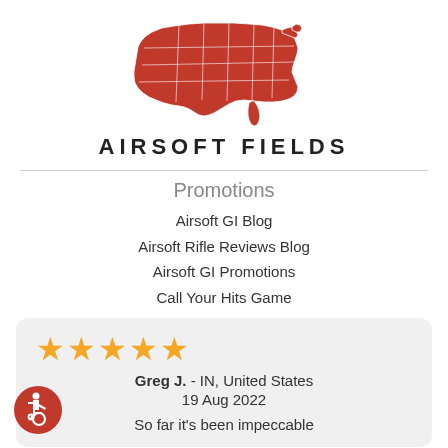[Figure (logo): Red silhouette map of the United States with white state borders, above the text AIRSOFT FIELDS]
AIRSOFT FIELDS
Promotions
Airsoft GI Blog
Airsoft Rifle Reviews Blog
Airsoft GI Promotions
Call Your Hits Game
★★★★★
Greg J.  - IN, United States
19 Aug 2022

So far it's been impeccable
[Figure (logo): Accessibility wheelchair icon in white on red circle background]